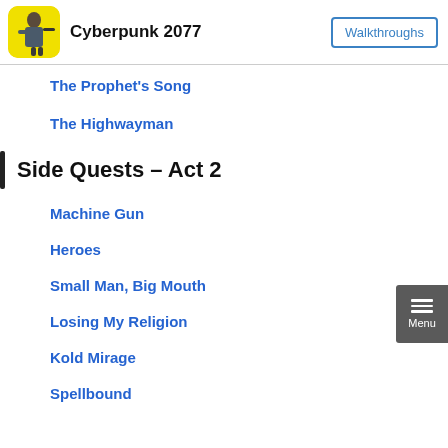Cyberpunk 2077 | Walkthroughs
The Prophet's Song
The Highwayman
Side Quests – Act 2
Machine Gun
Heroes
Small Man, Big Mouth
Losing My Religion
Kold Mirage
Spellbound